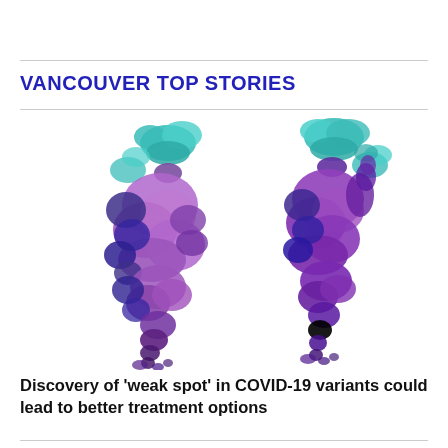VANCOUVER TOP STORIES
[Figure (illustration): Two 3D molecular structures of COVID-19 spike proteins side by side. The left structure is larger and shows a mix of purple/violet and dark blue colors with a teal/cyan top region. The right structure is smaller and shows darker purple/magenta tones with a teal/cyan top region. Both resemble branching tree-like protein structures.]
Discovery of 'weak spot' in COVID-19 variants could lead to better treatment options